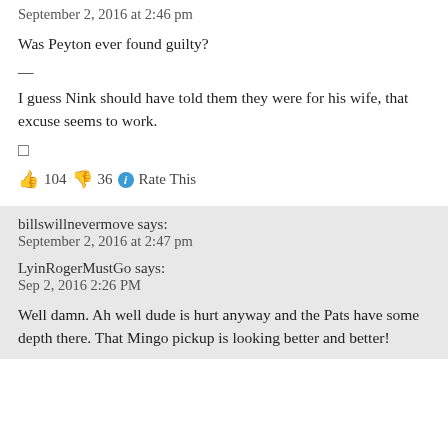September 2, 2016 at 2:46 pm
Was Peyton ever found guilty?
—
I guess Nink should have told them they were for his wife, that excuse seems to work.
👍 104 👎 36 ℹ Rate This
billswillnevermove says:
September 2, 2016 at 2:47 pm
LyinRogerMustGo says:
Sep 2, 2016 2:26 PM
Well damn. Ah well dude is hurt anyway and the Pats have some depth there. That Mingo pickup is looking better and better!